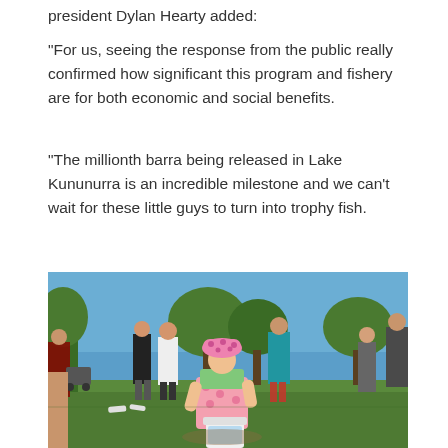president Dylan Hearty added:
“For us, seeing the response from the public really confirmed how significant this program and fishery are for both economic and social benefits.
“The millionth barra being released in Lake Kununurra is an incredible milestone and we can’t wait for these little guys to turn into trophy fish.
[Figure (photo): A young toddler girl in a pink hat and pink spotty dress bends down over a white bucket on grass, with a crowd of people visible in the background at an outdoor event on a sunny day.]